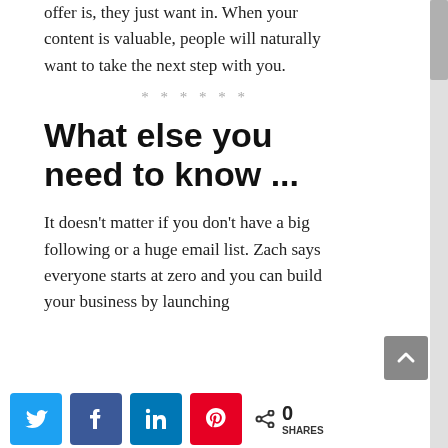offer is, they just want in. When your content is valuable, people will naturally want to take the next step with you.
* * * * * *
What else you need to know ...
It doesn’t matter if you don’t have a big following or a huge email list. Zach says everyone starts at zero and you can build your business by launching
[Figure (infographic): Share bar with Twitter, Facebook, LinkedIn, Pinterest buttons and a share count showing 0 SHARES]